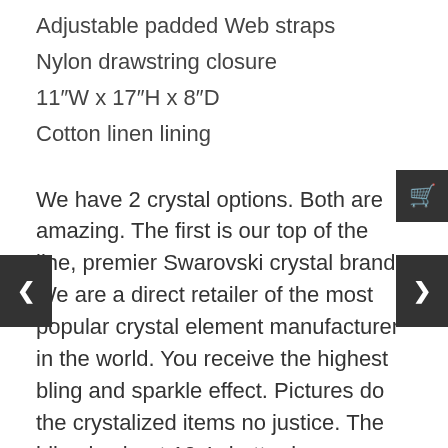Adjustable padded Web straps
Nylon drawstring closure
11″W x 17″H x 8″D
Cotton linen lining
We have 2 crystal options. Both are amazing. The first is our top of the line, premier Swarovski crystal brand. We are a direct retailer of the most popular crystal element manufacturer in the world. You receive the highest bling and sparkle effect. Pictures do the crystalized items no justice. The bling is about 10x's better in person. The sparkle effect is Absolutely Amazing! No comparision. Our second crystal option is our Exclusive Sparklicious brand. The crystals are premium quality. The sparkle